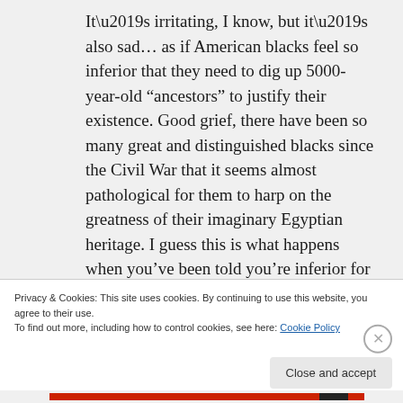It’s irritating, I know, but it’s also sad… as if American blacks feel so inferior that they need to dig up 5000-year-old “ancestors” to justify their existence. Good grief, there have been so many great and distinguished blacks since the Civil War that it seems almost pathological for them to harp on the greatness of their imaginary Egyptian heritage. I guess this is what happens when you’ve been told you’re inferior for generation after generation. Their response
Privacy & Cookies: This site uses cookies. By continuing to use this website, you agree to their use.
To find out more, including how to control cookies, see here: Cookie Policy